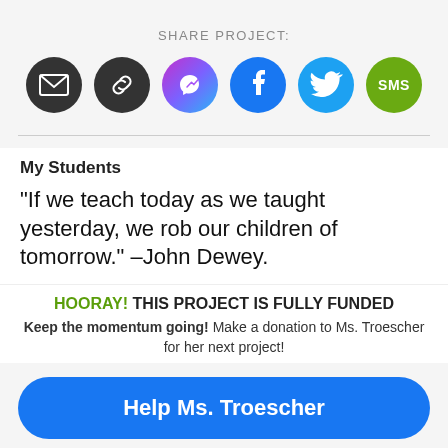SHARE PROJECT:
[Figure (infographic): Six social sharing icon buttons in a row: Email (dark circle with envelope), Link/Copy (dark circle with chain link), Facebook Messenger (gradient purple/blue circle with lightning bolt), Facebook (blue circle with f), Twitter (light blue circle with bird), SMS (green circle with SMS text)]
My Students
"If we teach today as we taught yesterday, we rob our children of tomorrow." –John Dewey.
HOORAY! THIS PROJECT IS FULLY FUNDED
Keep the momentum going! Make a donation to Ms. Troescher for her next project!
Help Ms. Troescher